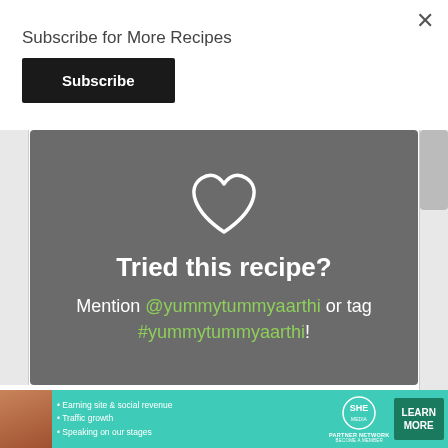Subscribe for More Recipes
Subscribe
[Figure (infographic): Gray card with heart icon, text 'Tried this recipe? Mention @yummytummyaarthi or tag #yummytummyaarthi!']
Cook Mode  Prevent your screen from going dark
[Figure (infographic): SHE Partner Network advertisement banner with person photo, bullet points: Earning site & social revenue, Traffic growth, Speaking on our stages, and LEARN MORE button]